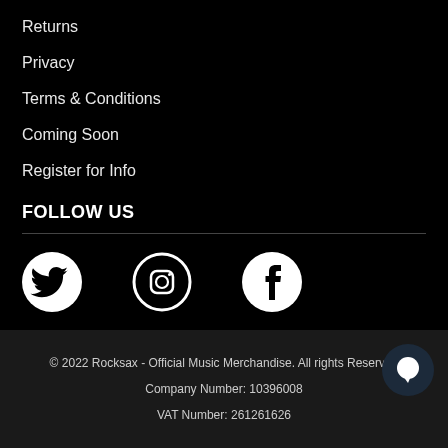Returns
Privacy
Terms & Conditions
Coming Soon
Register for Info
FOLLOW US
[Figure (logo): Twitter bird logo icon in white on black circle]
[Figure (logo): Instagram camera logo icon in black on white circle outline]
[Figure (logo): Facebook f logo in black on white circle]
© 2022 Rocksax - Official Music Merchandise. All rights Reserved
Company Number: 10396008
VAT Number: 261261626